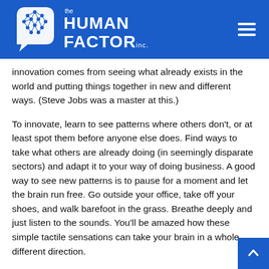[Figure (logo): The Human Factor Inc. logo — white brain icon with hexagonal nodes on blue background, with company name in white text]
innovation comes from seeing what already exists in the world and putting things together in new and different ways. (Steve Jobs was a master at this.)
To innovate, learn to see patterns where others don't, or at least spot them before anyone else does. Find ways to take what others are already doing (in seemingly disparate sectors) and adapt it to your way of doing business. A good way to see new patterns is to pause for a moment and let the brain run free. Go outside your office, take off your shoes, and walk barefoot in the grass. Breathe deeply and just listen to the sounds. You'll be amazed how these simple tactile sensations can take your brain in a whole different direction.
Or, try something you do in a different way. If you're right-handed, use your left to brush your teeth. Take a different